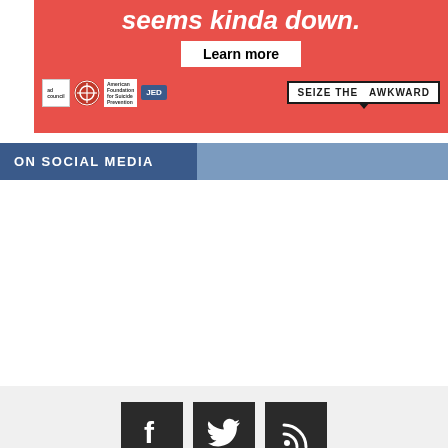[Figure (infographic): Red advertisement banner for 'Seize the Awkward' mental health campaign. Shows text 'seems kinda down.' in white italic text, a 'Learn more' button, logos for Ad Council, American Foundation for Suicide Prevention, and JED, and a 'SEIZE THE AWKWARD' speech bubble logo.]
ON SOCIAL MEDIA
[Figure (infographic): Gray box containing three dark square social media icons: Facebook (f), Twitter (bird), and RSS (wifi signal icon).]
[Figure (infographic): Gray section at bottom of page with a blue 'back to top' button with upward-pointing chevron arrow in bottom-right corner.]